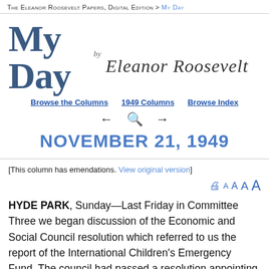The Eleanor Roosevelt Papers, Digital Edition > My Day
[Figure (illustration): My Day logo in large serif blue text with cursive signature 'by Eleanor Roosevelt' to the right]
Browse the Columns | 1949 Columns | Browse Index
NOVEMBER 21, 1949
[This column has emendations. View original version]
HYDE PARK, Sunday—Last Friday in Committee Three we began discussion of the Economic and Social Council resolution which referred to us the report of the International Children's Emergency Fund. The council had passed a resolution appointing an inter-agency committee to